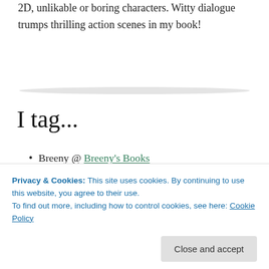2D, unlikable or boring characters. Witty dialogue trumps thrilling action scenes in my book!
I tag...
Breeny @ Breeny's Books
Sarah @ Between the Pages
Tanya & Shanya @ Twin Bookmarks
Anyone else who hasn't done this tag and wants to!
Privacy & Cookies: This site uses cookies. By continuing to use this website, you agree to their use. To find out more, including how to control cookies, see here: Cookie Policy
in my writing life! I'm off to FRIENDSfest this weekend,